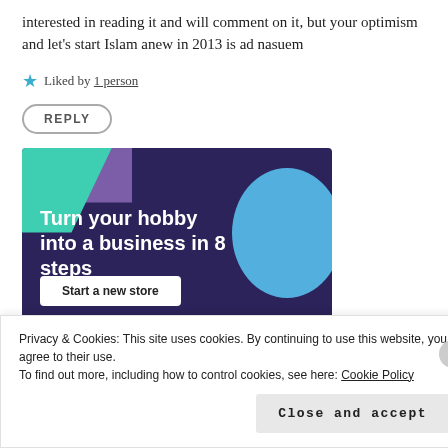interested in reading it and will comment on it, but your optimism and let's start Islam anew in 2013 is ad nasuem
★ Liked by 1 person
REPLY
[Figure (infographic): Advertisement banner with dark navy background, teal and purple decorative shapes top-left, light blue circle top-right. White bold text reads 'Turn your hobby into a business in 8 steps'. White button reads 'Start a new store'.]
Privacy & Cookies: This site uses cookies. By continuing to use this website, you agree to their use. To find out more, including how to control cookies, see here: Cookie Policy
Close and accept